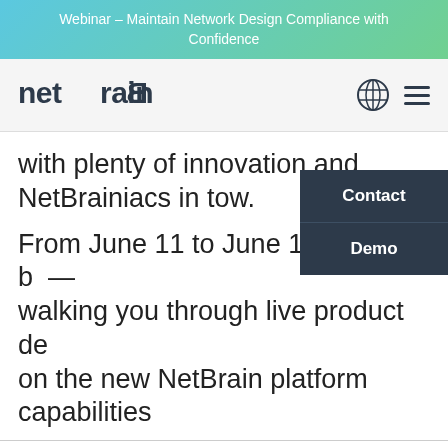Webinar – Maintain Network Design Compliance with Confidence
[Figure (logo): NetBrain logo with globe and hamburger menu icons]
with plenty of innovation and NetBrainiacs in tow.
From June 11 to June 14, we will be walking you through live product demos on the new NetBrain platform capabilities
Contact
Demo
Ok  No  Privacy policy
We use cookies to personalize content and understand your use of the website in order to improve user experience. By using our website you consent to all cookies in accordance with our privacy policy.